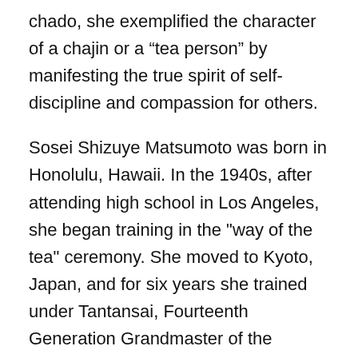chado, she exemplified the character of a chajin or a “tea person” by manifesting the true spirit of self-discipline and compassion for others.
Sosei Shizuye Matsumoto was born in Honolulu, Hawaii. In the 1940s, after attending high school in Los Angeles, she began training in the "way of the tea" ceremony. She moved to Kyoto, Japan, and for six years she trained under Tantansai, Fourteenth Generation Grandmaster of the Urasenke School of Chado, and Soshitsu Sen, Fifteenth Generation Grandmaster.